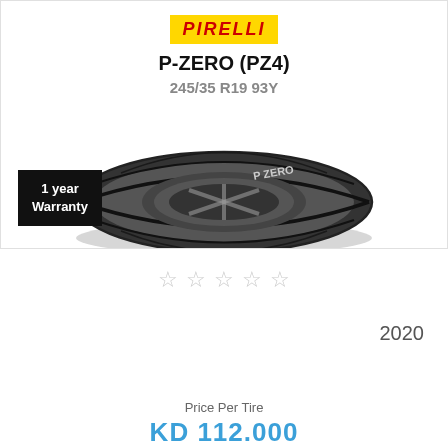[Figure (logo): Pirelli yellow logo with red italic text]
P-ZERO (PZ4)
245/35 R19 93Y
1 year Warranty
[Figure (photo): Pirelli P-Zero tire tread view from above]
☆ ☆ ☆ ☆ ☆
2020
[Figure (infographic): Three rating bars: fuel efficiency (blue fuel pump icon), wet grip (blue rain cloud icon), noise (blue speaker icon) — all empty/unrated]
Price Per Tire
KD 112.000